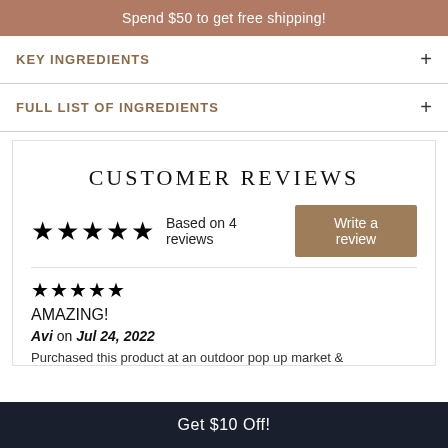Spend $50 to get free shipping!
KEY INGREDIENTS
FULL LIST OF INGREDIENTS
CUSTOMER REVIEWS
★★★★★ Based on 4 reviews  Write a review
★★★★★
AMAZING!
Avi on Jul 24, 2022
Purchased this product at an outdoor pop up market &
Get $10 Off!